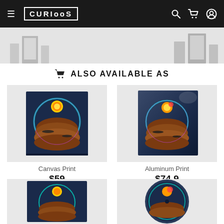CURIOOS
[Figure (screenshot): Partial view of product display with easel frames on grey background]
ALSO AVAILABLE AS
[Figure (photo): Canvas Print product image - dark sci-fi landscape art with glowing dome]
Canvas Print
$59
[Figure (photo): Aluminum Print product image - same sci-fi landscape art]
Aluminum Print
$74.9
[Figure (photo): Bottom left product - art print on square format]
[Figure (photo): Bottom right product - circular/disc format]